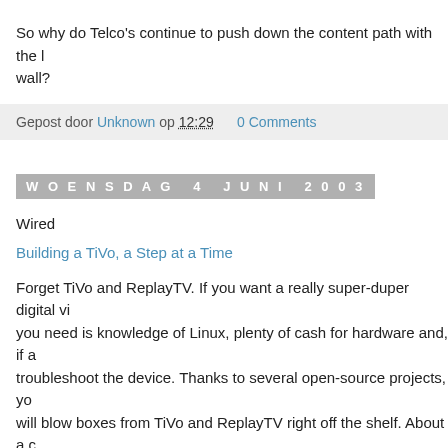So why do Telco's continue to push down the content path with the l... wall?
Gepost door Unknown op 12:29    0 Comments
WOENSDAG 4 JUNI 2003
Wired
Building a TiVo, a Step at a Time
Forget TiVo and ReplayTV. If you want a really super-duper digital vi... you need is knowledge of Linux, plenty of cash for hardware and, if a... troubleshoot the device. Thanks to several open-source projects, yo... will blow boxes from TiVo and ReplayTV right off the shelf. About a c... works that will transform a spare computer, or one built from off-the-... recorder, or DVR.
Gepost door Unknown op 16:12    0 Comments